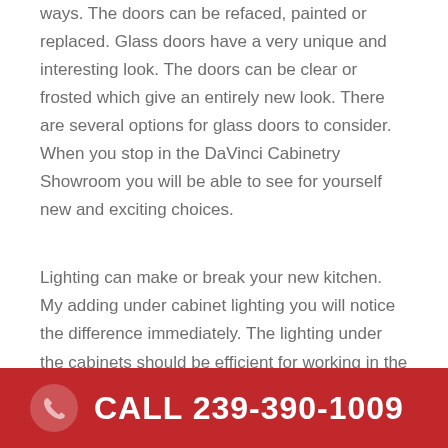ways. The doors can be refaced, painted or replaced. Glass doors have a very unique and interesting look. The doors can be clear or frosted which give an entirely new look. There are several options for glass doors to consider. When you stop in the DaVinci Cabinetry Showroom you will be able to see for yourself new and exciting choices.
Lighting can make or break your new kitchen. My adding under cabinet lighting you will notice the difference immediately. The lighting under the cabinets should be efficient for working in the kitchen. At night lights makes the ambiance to the room appealing. Overhead lighting should be bright enough for cooking and eating but not too bright to have an uncomfortable feeling. Pedestal lighting is a
CALL 239-390-1009